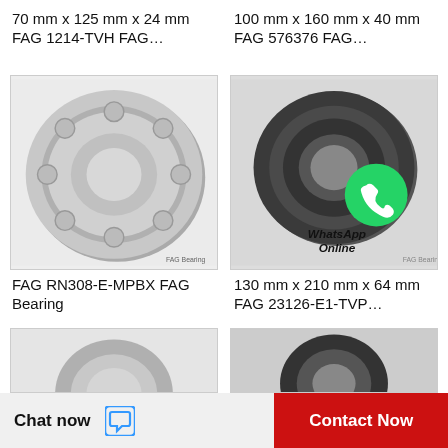70 mm x 125 mm x 24 mm FAG 1214-TVH FAG…
100 mm x 160 mm x 40 mm FAG 576376 FAG…
[Figure (photo): FAG ball bearing (open type, steel, cylindrical rolling elements visible), silver/chrome color]
[Figure (photo): FAG bearing with WhatsApp Online overlay icon and text]
FAG RN308-E-MPBX FAG Bearing
130 mm x 210 mm x 64 mm FAG 23126-E1-TVP…
[Figure (photo): Partial view of FAG bearing (bottom left), silver/grey]
[Figure (photo): Partial view of FAG bearing (bottom right), dark/black]
Chat now   Contact Now